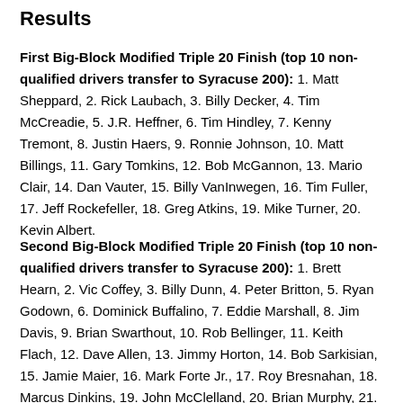Results
First Big-Block Modified Triple 20 Finish (top 10 non-qualified drivers transfer to Syracuse 200): 1. Matt Sheppard, 2. Rick Laubach, 3. Billy Decker, 4. Tim McCreadie, 5. J.R. Heffner, 6. Tim Hindley, 7. Kenny Tremont, 8. Justin Haers, 9. Ronnie Johnson, 10. Matt Billings, 11. Gary Tomkins, 12. Bob McGannon, 13. Mario Clair, 14. Dan Vauter, 15. Billy VanInwegen, 16. Tim Fuller, 17. Jeff Rockefeller, 18. Greg Atkins, 19. Mike Turner, 20. Kevin Albert.
Second Big-Block Modified Triple 20 Finish (top 10 non-qualified drivers transfer to Syracuse 200): 1. Brett Hearn, 2. Vic Coffey, 3. Billy Dunn, 4. Peter Britton, 5. Ryan Godown, 6. Dominick Buffalino, 7. Eddie Marshall, 8. Jim Davis, 9. Brian Swarthout, 10. Rob Bellinger, 11. Keith Flach, 12. Dave Allen, 13. Jimmy Horton, 14. Bob Sarkisian, 15. Jamie Maier, 16. Mark Forte Jr., 17. Roy Bresnahan, 18. Marcus Dinkins, 19. John McClelland, 20. Brian Murphy, 21. Al Blanchard.